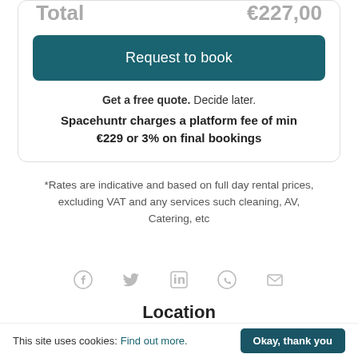Total   €227,00
Request to book
Get a free quote. Decide later. Spacehuntr charges a platform fee of min €229 or 3% on final bookings
*Rates are indicative and based on full day rental prices, excluding VAT and any services such cleaning, AV, Catering, etc
[Figure (infographic): Social sharing icons row: Facebook, Twitter, LinkedIn, WhatsApp, Email]
Location
[Figure (map): Partial map strip showing street map]
This site uses cookies: Find out more. Okay, thank you